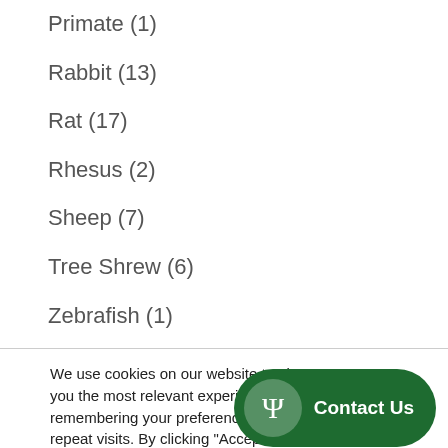Primate (1)
Rabbit (13)
Rat (17)
Rhesus (2)
Sheep (7)
Tree Shrew (6)
Zebrafish (1)
We use cookies on our website to give you the most relevant experience by remembering your preferences and repeat visits. By clicking “Accept”, you consent to the use of cookies.
Accept | Reject
Contact Us
[Figure (illustration): Chat icon circle button (green)]